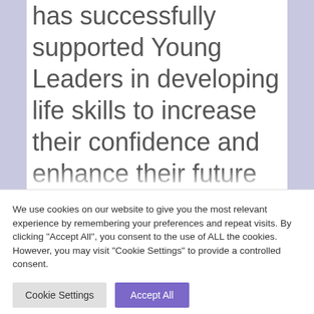has successfully supported Young Leaders in developing life skills to increase their confidence and enhance their future employment prospects. The programme has recently been selected to participate in a new development project funded by Sport
We use cookies on our website to give you the most relevant experience by remembering your preferences and repeat visits. By clicking "Accept All", you consent to the use of ALL the cookies. However, you may visit "Cookie Settings" to provide a controlled consent.